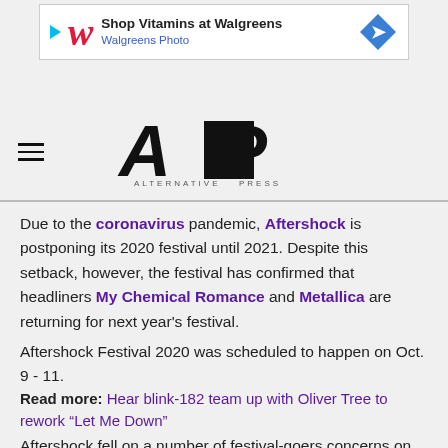[Figure (other): Walgreens advertisement banner: Play button icon, Walgreens W logo, text 'Shop Vitamins at Walgreens' and 'Walgreens Photo', blue diamond navigation icon on right]
[Figure (logo): Alternative Press (AP) logo in bold black letters with tagline ALTERNATIVE PRESS]
Due to the coronavirus pandemic, Aftershock is postponing its 2020 festival until 2021. Despite this setback, however, the festival has confirmed that headliners My Chemical Romance and Metallica are returning for next year's festival.
Aftershock Festival 2020 was scheduled to happen on Oct. 9 - 11.
Read more: Hear blink-182 team up with Oliver Tree to rework “Let Me Down”
Aftershock fell on a number of festival-goers concerns on this